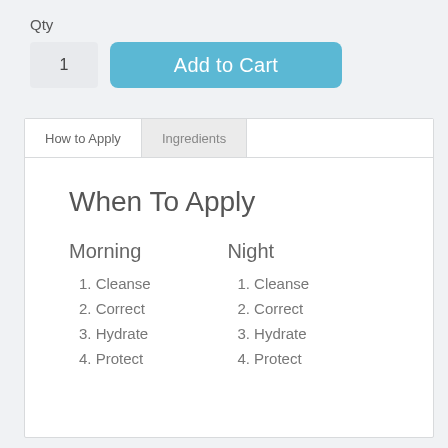Qty
1
Add to Cart
How to Apply
Ingredients
When To Apply
Morning
Night
1. Cleanse
2. Correct
3. Hydrate
4. Protect
1. Cleanse
2. Correct
3. Hydrate
4. Protect